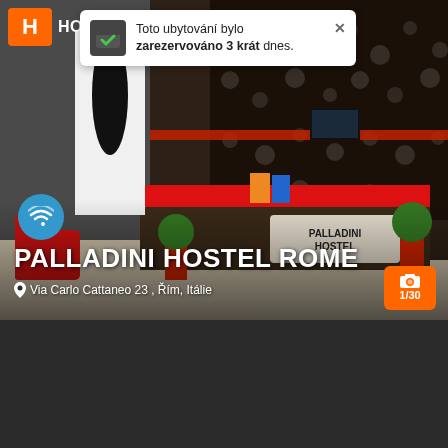[Figure (photo): Interior of Palladini Hostel Rome showing reception desk with red countertop, decorative black and white patterned wallpaper, red planters with green topiaries, and silhouette artwork]
Toto ubytování bylo zarezervováno 3 krát dnes.
PALLADINI HOSTEL ROME
Via Carlo Cattaneo 23 , Řím, Itálie
Zjistit dostupnost
BEZPLATNÉ STORNO